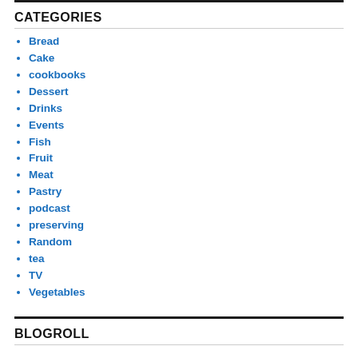CATEGORIES
Bread
Cake
cookbooks
Dessert
Drinks
Events
Fish
Fruit
Meat
Pastry
podcast
preserving
Random
tea
TV
Vegetables
BLOGROLL